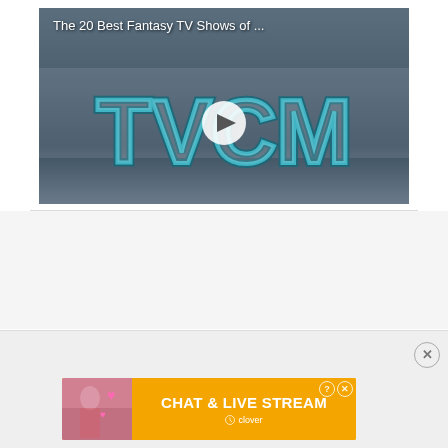[Figure (screenshot): Video thumbnail showing TVCM logo with play button overlay. Title reads 'The 20 Best Fantasy TV Shows of ...' on dark background.]
[Figure (screenshot): Advertisement banner in yellow/orange with text 'CHAT & LIVE STREAM' and clover branding, with a woman image on the left side. Has info and close icons.]